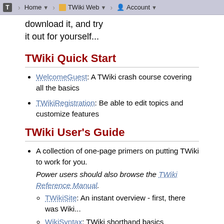T | Home ▼ | TWiki Web ▼ | Account ▼
download it, and try it out for yourself...
TWiki Quick Start
WelcomeGuest: A TWiki crash course covering all the basics
TWikiRegistration: Be able to edit topics and customize features
TWiki User's Guide
A collection of one-page primers on putting TWiki to work for you. Power users should also browse the TWiki Reference Manual.
TWikiSite: An instant overview - first, there was Wiki...
WikiSyntax: TWiki shorthand basics
TWikiFAQ: The first things people ask about